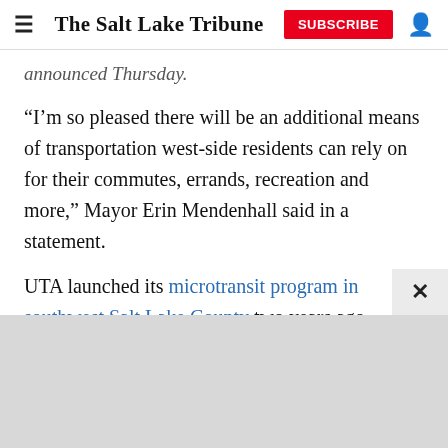The Salt Lake Tribune | SUBSCRIBE
announced Thursday.
“I’m so pleased there will be an additional means of transportation west-side residents can rely on for their commutes, errands, recreation and more,” Mayor Erin Mendenhall said in a statement.
UTA launched its microtransit program in southwest Salt Lake County two years ago. Riders can download the UTA On Demand app on their phones to schedule